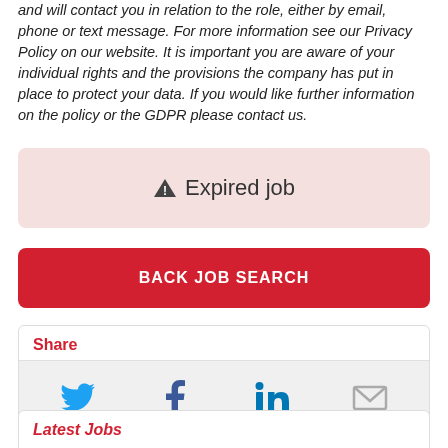and will contact you in relation to the role, either by email, phone or text message. For more information see our Privacy Policy on our website. It is important you are aware of your individual rights and the provisions the company has put in place to protect your data. If you would like further information on the policy or the GDPR please contact us.
[Figure (infographic): Expired job warning box with triangle warning icon and text 'Expired job' on a pink/light red background]
BACK JOB SEARCH
Share
[Figure (infographic): Social share icons: Twitter (blue bird), Facebook (blue f), LinkedIn (blue in), Email (grey envelope)]
Latest Jobs